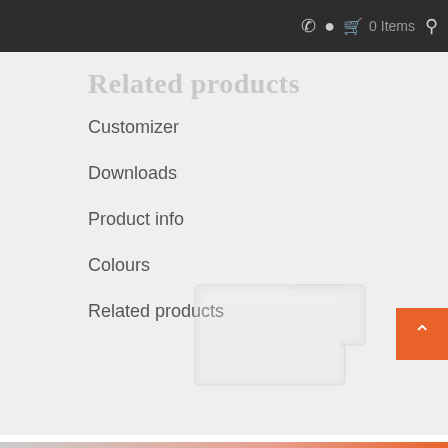0 Items
Related products
Customizer
Downloads
Product info
Colours
Related products
[Figure (photo): Faded product image of an L-shaped reception station desk, light beige/white tones]
L-Shaped Reception Station
$2,000.00